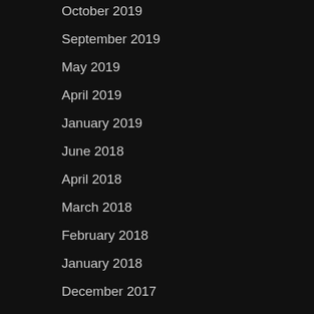October 2019
September 2019
May 2019
April 2019
January 2019
June 2018
April 2018
March 2018
February 2018
January 2018
December 2017
November 2017